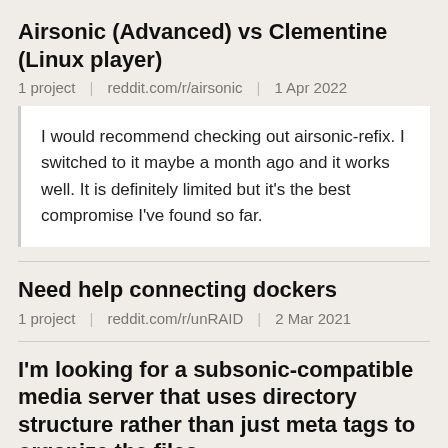Airsonic (Advanced) vs Clementine (Linux player)
1 project | reddit.com/r/airsonic | 1 Apr 2022
I would recommend checking out airsonic-refix. I switched to it maybe a month ago and it works well. It is definitely limited but it's the best compromise I've found so far.
Need help connecting dockers
1 project | reddit.com/r/unRAID | 2 Mar 2021
I'm looking for a subsonic-compatible media server that uses directory structure rather than just meta tags to organize the files
1 project | reddit.com/r/selfhosted | 5 Feb 2021